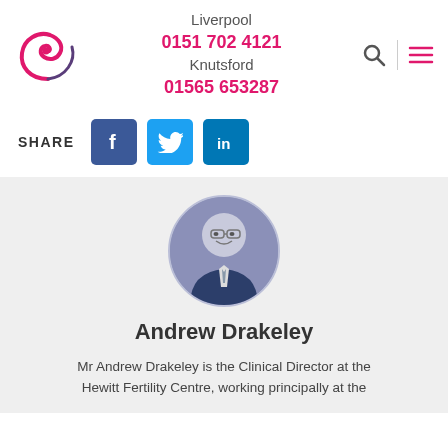[Figure (logo): Fertility clinic logo — pink/purple spiral wave shape]
Liverpool
0151 702 4121
Knutsford
01565 653287
[Figure (other): Search icon (magnifying glass) and hamburger menu icon]
SHARE
[Figure (other): Social share buttons: Facebook, Twitter, LinkedIn]
[Figure (photo): Circular profile photo of Andrew Drakeley — a middle-aged man with glasses wearing a suit and tie]
Andrew Drakeley
Mr Andrew Drakeley is the Clinical Director at the Hewitt Fertility Centre, working principally at the